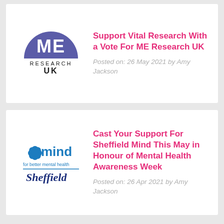[Figure (logo): ME Research UK logo — purple semicircle with 'ME' in white, 'RESEARCH UK' below in dark text]
Support Vital Research With a Vote For ME Research UK
Posted on: 26 May 2021 by Amy Jackson
[Figure (logo): Sheffield Mind logo — blue mind logo with butterfly, 'for better mental health', underline, and 'Sheffield' in dark blue italic text]
Cast Your Support For Sheffield Mind This May in Honour of Mental Health Awareness Week
Posted on: 26 Apr 2021 by Amy Jackson